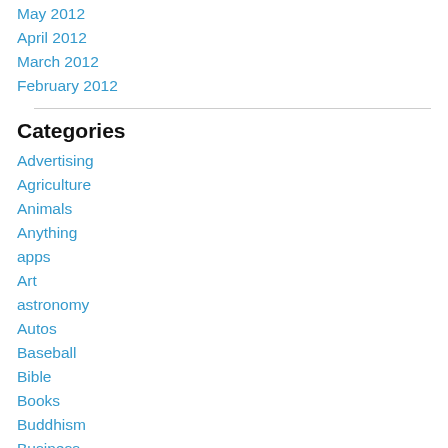May 2012
April 2012
March 2012
February 2012
Categories
Advertising
Agriculture
Animals
Anything
apps
Art
astronomy
Autos
Baseball
Bible
Books
Buddhism
Business